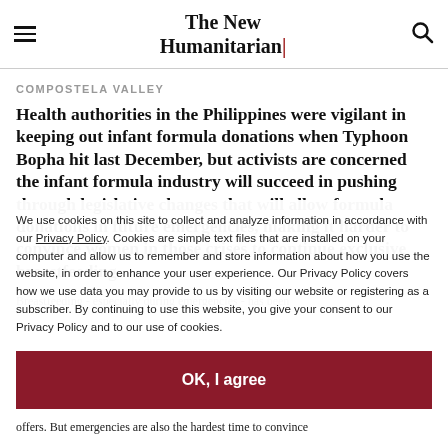The New Humanitarian
COMPOSTELA VALLEY
Health authorities in the Philippines were vigilant in keeping out infant formula donations when Typhoon Bopha hit last December, but activists are concerned the infant formula industry will succeed in pushing through legislative changes that will allow formula donations in future emergencies, making it harder to convince women in those crises to continue exclusive breastfeeding.
Breastfeeding - especially during emergencies - has been
offers. But emergencies are also the hardest time to convince
We use cookies on this site to collect and analyze information in accordance with our Privacy Policy. Cookies are simple text files that are installed on your computer and allow us to remember and store information about how you use the website, in order to enhance your user experience. Our Privacy Policy covers how we use data you may provide to us by visiting our website or registering as a subscriber. By continuing to use this website, you give your consent to our Privacy Policy and to our use of cookies.
OK, I agree